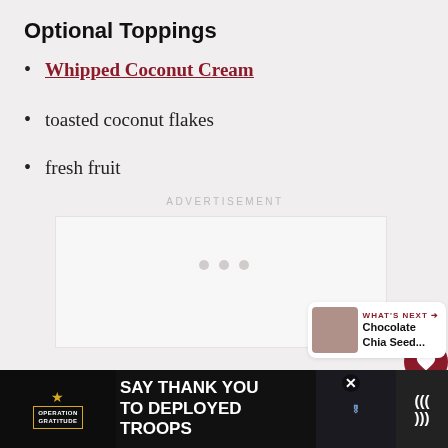Optional Toppings
Whipped Coconut Cream
toasted coconut flakes
fresh fruit
ADVERTISEMENT
8
WHAT'S NEXT → Chocolate Chia Seed...
[Figure (infographic): Bottom advertisement bar: Operation Gratitude logo, text SAY THANK YOU TO DEPLOYED TROOPS, decorative patriotic image with owl character, close button, weather widget icon]